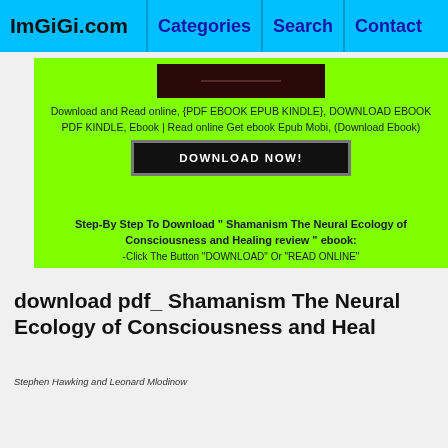ImGiGi.com | Categories | Search | Contact
[Figure (screenshot): Green promotional download box with book cover image, download text, DOWNLOAD NOW! button, step-by-step instructions, and click instruction.]
download pdf_ Shamanism The Neural Ecology of Consciousness and Heal
Stephen Hawking and Leonard Mlodinow